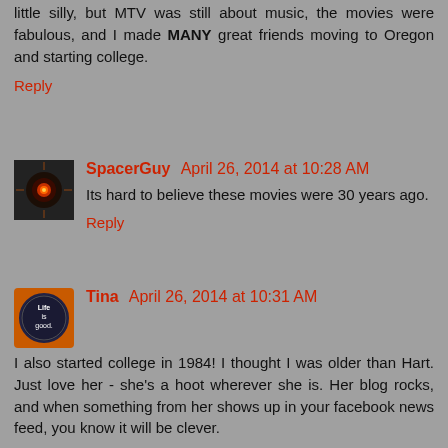little silly, but MTV was still about music, the movies were fabulous, and I made MANY great friends moving to Oregon and starting college.
Reply
SpacerGuy  April 26, 2014 at 10:28 AM
Its hard to believe these movies were 30 years ago.
Reply
Tina  April 26, 2014 at 10:31 AM
I also started college in 1984! I thought I was older than Hart. Just love her - she's a hoot wherever she is. Her blog rocks, and when something from her shows up in your facebook news feed, you know it will be clever.
Terminator is one of my favorite movies and I remember watching it in my co-ed dorm in some guys room, standing room only, and the guy in the corner of the room couldn't get out in time so he puked into the beer pitcher. Took me a